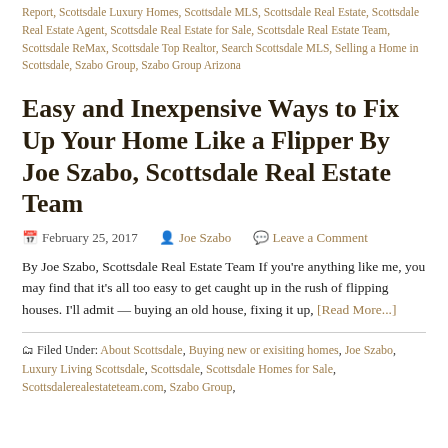Report, Scottsdale Luxury Homes, Scottsdale MLS, Scottsdale Real Estate, Scottsdale Real Estate Agent, Scottsdale Real Estate for Sale, Scottsdale Real Estate Team, Scottsdale ReMax, Scottsdale Top Realtor, Search Scottsdale MLS, Selling a Home in Scottsdale, Szabo Group, Szabo Group Arizona
Easy and Inexpensive Ways to Fix Up Your Home Like a Flipper By Joe Szabo, Scottsdale Real Estate Team
February 25, 2017  Joe Szabo  Leave a Comment
By Joe Szabo, Scottsdale Real Estate Team If you're anything like me, you may find that it's all too easy to get caught up in the rush of flipping houses. I'll admit — buying an old house, fixing it up, [Read More...]
Filed Under: About Scottsdale, Buying new or exisiting homes, Joe Szabo, Luxury Living Scottsdale, Scottsdale, Scottsdale Homes for Sale, Scottsdalerealestateteam.com, Szabo Group,